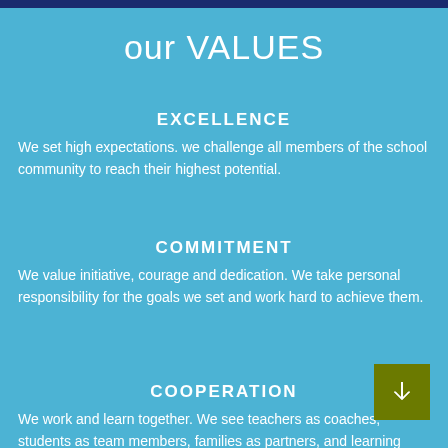our VALUES
EXCELLENCE
We set high expectations. we challenge all members of the school community to reach their highest potential.
COMMITMENT
We value initiative, courage and dedication. We take personal responsibility for the goals we set and work hard to achieve them.
COOPERATION
We work and learn together. We see teachers as coaches, students as team members, families as partners, and learning